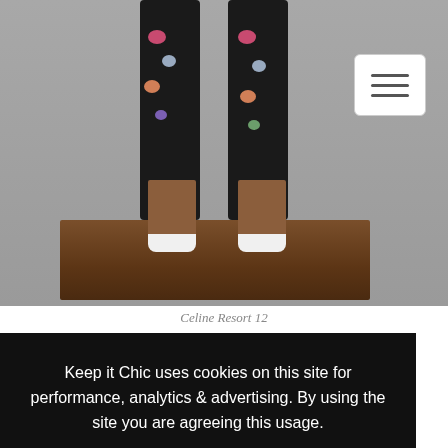[Figure (photo): Fashion photo showing legs wearing black floral print pants and white-tipped brown heels standing on a wooden table, gray background. Hamburger menu icon in top right corner.]
Celine Resort 12
Keep it Chic uses cookies on this site for performance, analytics & advertising. By using the site you are agreeing this usage.
Learn more
Got it!
The Darlings